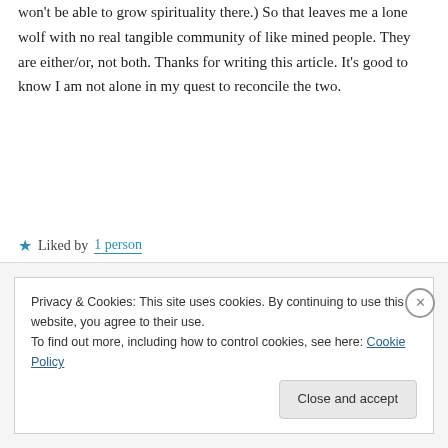won't be able to grow spirituality there.) So that leaves me a lone wolf with no real tangible community of like mined people. They are either/or, not both. Thanks for writing this article. It's good to know I am not alone in my quest to reconcile the two.
★ Liked by 1 person
↪ Reply
Privacy & Cookies: This site uses cookies. By continuing to use this website, you agree to their use. To find out more, including how to control cookies, see here: Cookie Policy
Close and accept